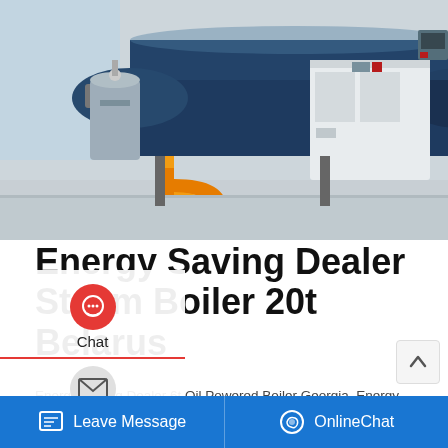[Figure (photo): Industrial steam boiler installation in a facility, showing a large blue cylindrical boiler with orange/yellow pipe connections and a white rectangular cabinet unit beside it.]
Energy Saving Dealer Steam Boiler 20t Belarus
Energy Saving Dealer 6t Oil Powered Boiler Georgia. Energy Saving Dealer Condensing Boiler 8t Armenia seller energy saving 6t biomass boiler georgia. In rice mill 6t oil steam boiler use for starch liquidation and pasting. The needed steam contains ...